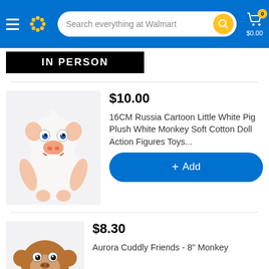Search everything at Walmart
[Figure (screenshot): Partially visible 'IN PERSON' black banner text]
$10.00
[Figure (photo): White cartoon plush pig toy standing with arms out, blue eyes and pink features]
16CM Russia Cartoon Little White Pig Plush White Monkey Soft Cotton Doll Action Figures Toys...
+ Add
$8.30
[Figure (photo): Brown monkey plush toy face visible from below crop]
Aurora Cuddly Friends - 8" Monkey